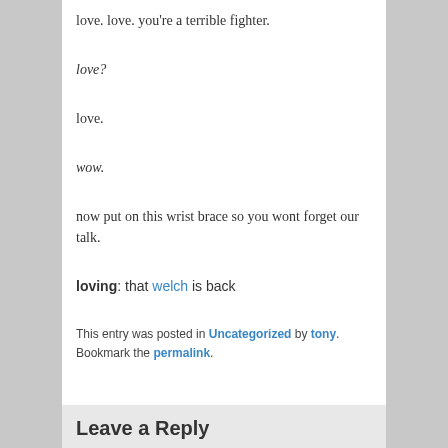love. love. you're a terrible fighter.
love?
love.
wow.
now put on this wrist brace so you wont forget our talk.
loving: that welch is back
This entry was posted in Uncategorized by tony. Bookmark the permalink.
Leave a Reply